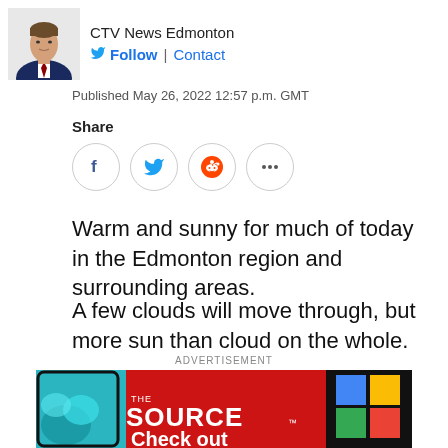[Figure (photo): Headshot photo of a man in a suit, with CTV News Edmonton branding area]
CTV News Edmonton
Follow | Contact
Published May 26, 2022 12:57 p.m. GMT
Share
[Figure (infographic): Social share buttons: Facebook, Twitter, Reddit, and more (ellipsis)]
Warm and sunny for much of today in the Edmonton region and surrounding areas.
A few clouds will move through, but more sun than cloud on the whole.
ADVERTISEMENT
[Figure (photo): Advertisement banner for The Source showing smartphones and The Source logo with text 'Check out']